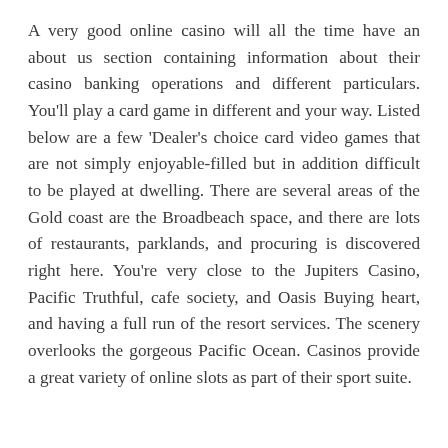A very good online casino will all the time have an about us section containing information about their casino banking operations and different particulars. You'll play a card game in different and your way. Listed below are a few 'Dealer's choice card video games that are not simply enjoyable-filled but in addition difficult to be played at dwelling. There are several areas of the Gold coast are the Broadbeach space, and there are lots of restaurants, parklands, and procuring is discovered right here. You're very close to the Jupiters Casino, Pacific Truthful, cafe society, and Oasis Buying heart, and having a full run of the resort services. The scenery overlooks the gorgeous Pacific Ocean. Casinos provide a great variety of online slots as part of their sport suite.